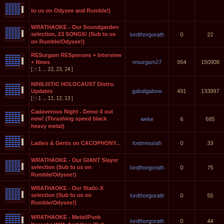| Icon | Topic | Author | Replies | Views | Last Post |
| --- | --- | --- | --- | --- | --- |
| [icon] | to us on Odysee and Rumble!) |  |  |  |  |
| [icon] | WRATHAOKE - Our Soundgarden selection, 23 SONGS! (Sub to us on Rumble/Odysee!) | lordthorgorath | 0 | 22 | Sat Aug 2... lordtho |
| [icon] | RESurgam RESponses + Interview + News [ 1 ... 22, 23, 24 ] | resurgam27 | 954 | 150908 | Sat Aug 27... resur |
| [icon] | NIHILISTIC HOLOCAUST Distro. Updates [ 1 ... 11, 12, 13 ] | gabalgabow | 491 | 133997 | Sat Aug 2... gaba |
| [icon] | Cadaverous Night - Demo II out now! (Thrashing speed black heavy metal) | weke | 6 | 685 | Fri Aug 26... w |
| [icon] | Ladies & Gents on CACOPHONY... | lostmessiah | 0 | 33 | Fri Aug 26... lostm |
| [icon] | WRATHAOKE - Our GIANT Slayer selection (Sub to us on Rumble/Odysee!) | lordthorgorath | 0 | 75 | Wed Aug 2... lordtho |
| [icon] | WRATHAOKE - Our Static-X selection (Sub to us on Rumble/Odysee!) | lordthorgorath | 0 | 55 | Wed Aug 2... lordth |
| [icon] | WRATHAOKE - Metal/Punk Karaoke With Ambition (Sub... | lordthorgorath | 0 | 44 | Wed Aug 2... |